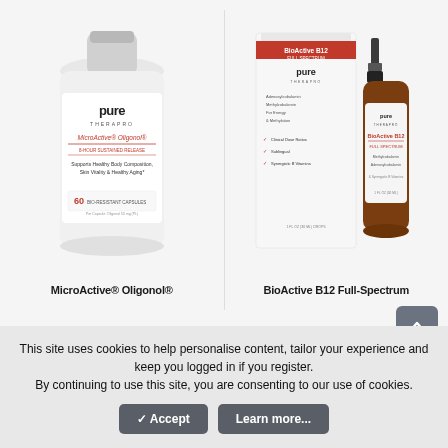[Figure (photo): Product image of Pure Therapro MicroActive Oligonol supplement bottle (white container with red and black label)]
MicroActive® Oligonol®
[Figure (photo): Product image of Pure Therapro BioActive B12 Full-Spectrum drops (box and small amber dropper bottle)]
BioActive B12 Full-Spectrum
This site uses cookies to help personalise content, tailor your experience and keep you logged in if you register.
By continuing to use this site, you are consenting to our use of cookies.